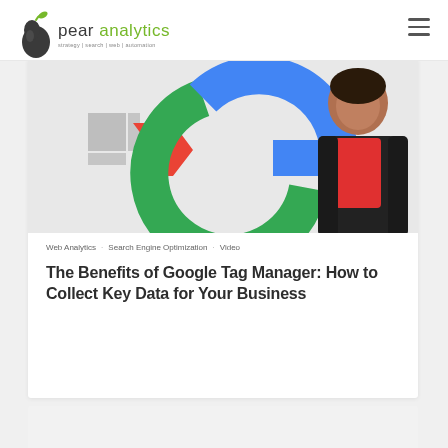pear analytics — strategy | search | web | automation
[Figure (screenshot): Hero image showing Google logo colorful letters with a person in a red shirt and dark jacket standing to the right]
Web Analytics · Search Engine Optimization · Video
The Benefits of Google Tag Manager: How to Collect Key Data for Your Business